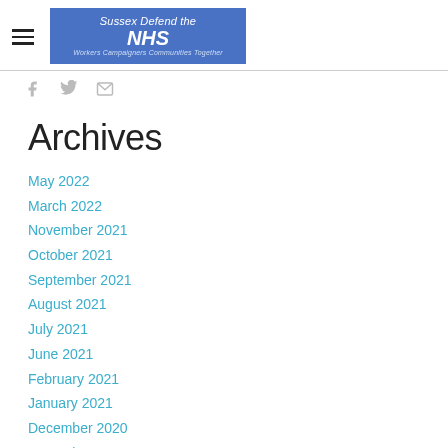Sussex Defend the NHS — Workers Campaigners Communities Together
Archives
May 2022
March 2022
November 2021
October 2021
September 2021
August 2021
July 2021
June 2021
February 2021
January 2021
December 2020
November 2020
October 2020